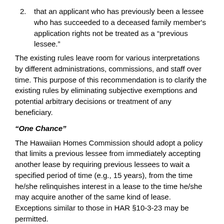2. that an applicant who has previously been a lessee who has succeeded to a deceased family member's application rights not be treated as a "previous lessee."
The existing rules leave room for various interpretations by different administrations, commissions, and staff over time. This purpose of this recommendation is to clarify the existing rules by eliminating subjective exemptions and potential arbitrary decisions or treatment of any beneficiary.
"One Chance"
The Hawaiian Homes Commission should adopt a policy that limits a previous lessee from immediately accepting another lease by requiring previous lessees to wait a specified period of time (e.g., 15 years), from the time he/she relinquishes interest in a lease to the time he/she may acquire another of the same kind of lease.  Exceptions similar to those in HAR §10-3-23 may be permitted.
This type of policy limits previous lessees from holding multiple leases over a lifetime in the interest of making homestead